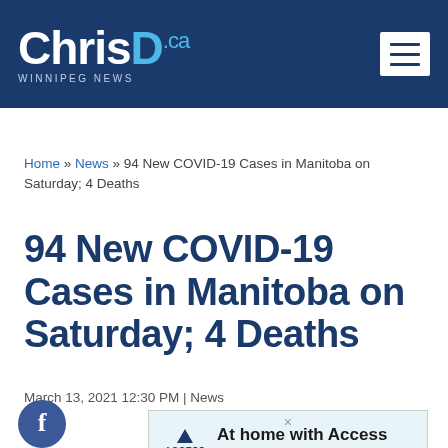ChrisD.ca — WINNIPEG NEWS
Home » News » 94 New COVID-19 Cases in Manitoba on Saturday; 4 Deaths
94 New COVID-19 Cases in Manitoba on Saturday; 4 Deaths
March 13, 2021 12:30 PM | News
[Figure (screenshot): Access Credit Union advertisement: 'At home with Access — Local mortgage experts. Comfortable payment plans.']